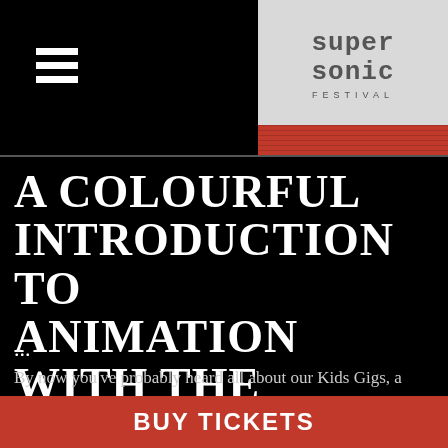Supersonic Festival header with hamburger menu and logo
A COLOURFUL INTRODUCTION TO ANIMATION WITH THE JUNEAU PROJECTS
...
By now you've probably heard all about our Kids Gigs, a series of concerts designed to introduce your young ones to the power and beauty of live music in a safe, child friendly
BUY TICKETS